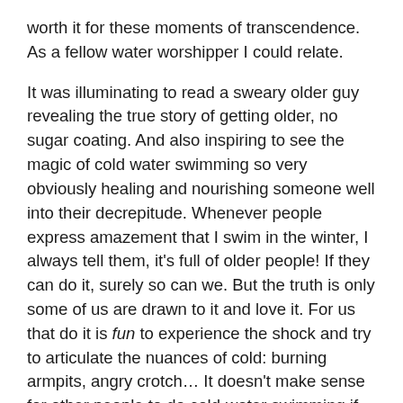worth it for these moments of transcendence. As a fellow water worshipper I could relate.
It was illuminating to read a sweary older guy revealing the true story of getting older, no sugar coating. And also inspiring to see the magic of cold water swimming so very obviously healing and nourishing someone well into their decrepitude. Whenever people express amazement that I swim in the winter, I always tell them, it's full of older people! If they can do it, surely so can we. But the truth is only some of us are drawn to it and love it. For us that do it is fun to experience the shock and try to articulate the nuances of cold: burning armpits, angry crotch… It doesn't make sense for other people to do cold-water swimming if they don't feel the call (you need to like it); hopefully they have their own version of the sublime at the ready.